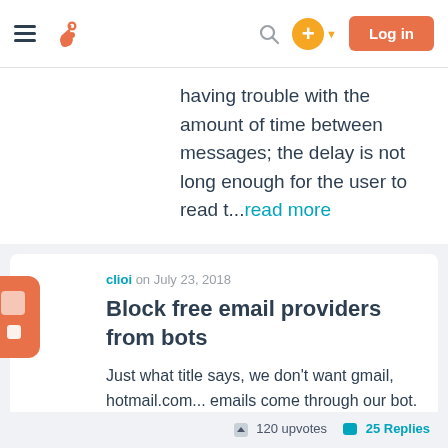HubSpot Community – Navigation bar with hamburger menu, HubSpot logo, search icon, plus button, and Log in button
having trouble with the amount of time between messages; the delay is not long enough for the user to read t...read more
clioi on July 23, 2018
Block free email providers from bots
Just what title says, we don't want gmail, hotmail.com... emails come through our bot. only valid business email addresses.
Reply  IDEA  Conversations
120 upvotes   25 Replies